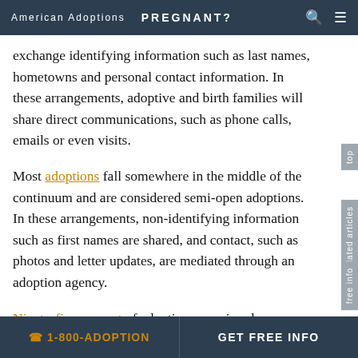American Adoptions   PREGNANT?
exchange identifying information such as last names, hometowns and personal contact information. In these arrangements, adoptive and birth families will share direct communications, such as phone calls, emails or even visits.
Most adoptions fall somewhere in the middle of the continuum and are considered semi-open adoptions. In these arrangements, non-identifying information such as first names are shared, and contact, such as photos and letter updates, are mediated through an adoption agency.
Ninety-five percent of adoptions now involve some level of openness, and the benefits of these open and semi-open adoptions are widely recognized:
☎ 1-800-ADOPTION   GET FREE INFO